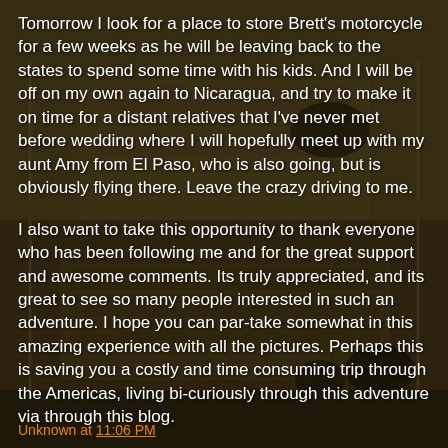[Figure (photo): Background photo of a motorcycle on a wooden suspension bridge, taken in a tropical/jungle setting with brown/green tones. Two sections visible: upper half shows motorcycle near top of bridge, lower half shows motorcycle navigating the bridge planks.]
Tomorrow I look for a place to store Brett's motorcycle for a few weeks as he will be leaving back to the states to spend some time with his kids. And I will be off on my own again to Nicaragua, and try to make it on time for a distant relatives that I've never met before wedding where I will hopefully meet up with my aunt Amy from El Paso, who is also going, but is obviously flying there. Leave the crazy driving to me.
I also want to take this opportunity to thank everyone who has been following me and for the great support and awesome comments. Its truly appreciated, and its great to see so many people interested in such an adventure. I hope you can par-take somewhat in this amazing experience with all the pictures. Perhaps this is saving you a costly and time consuming trip through the Americas, living bi-curiously through this adventure via through this blog.
Until the next post, adios amigos!
Unknown at 11:06 PM